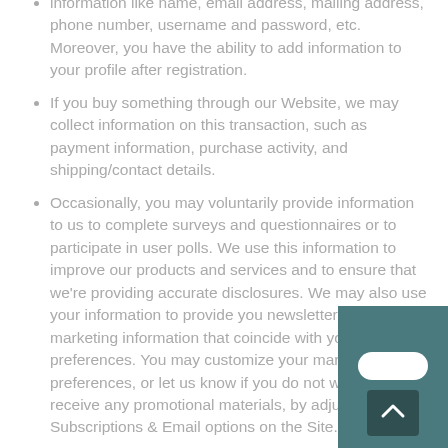information like name, email address, mailing address, phone number, username and password, etc. Moreover, you have the ability to add information to your profile after registration.
If you buy something through our Website, we may collect information on this transaction, such as payment information, purchase activity, and shipping/contact details.
Occasionally, you may voluntarily provide information to us to complete surveys and questionnaires or to participate in user polls. We use this information to improve our products and services and to ensure that we're providing accurate disclosures. We may also use your information to provide you newsletters and other marketing information that coincide with your preferences. You may customize your marketing preferences, or let us know if you do not wish to receive any promotional materials, by adjusting your Subscriptions & Email options on the Site.